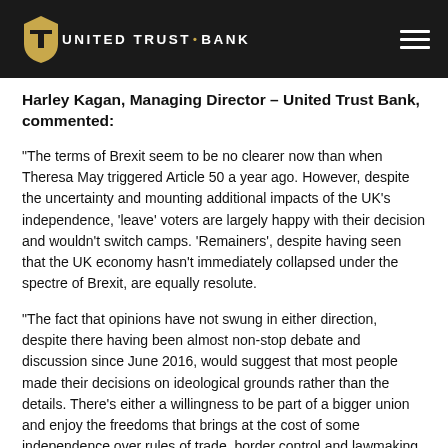United Trust Bank
Harley Kagan, Managing Director – United Trust Bank, commented:
“The terms of Brexit seem to be no clearer now than when Theresa May triggered Article 50 a year ago. However, despite the uncertainty and mounting additional impacts of the UK’s independence, ‘leave’ voters are largely happy with their decision and wouldn’t switch camps. ‘Remainers’, despite having seen that the UK economy hasn’t immediately collapsed under the spectre of Brexit, are equally resolute.
“The fact that opinions have not swung in either direction, despite there having been almost non-stop debate and discussion since June 2016, would suggest that most people made their decisions on ideological grounds rather than the details. There’s either a willingness to be part of a bigger union and enjoy the freedoms that brings at the cost of some independence over rules of trade, border control and lawmaking, or a desire to take back full control of those